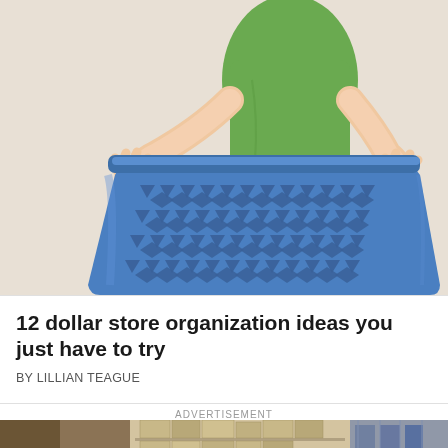[Figure (illustration): Illustrated image of a person in a green shirt and brown skirt holding a blue plastic laundry basket with a decorative triangular/diamond perforated pattern on the front, against a light beige background.]
12 dollar store organization ideas you just have to try
BY LILLIAN TEAGUE
ADVERTISEMENT
[Figure (photo): Partial advertisement image showing shelves with boxes and storage items, in brown/grey tones.]
© DIY Everywhere   About Ads   Terms   Privacy   Do Not Sell My Info